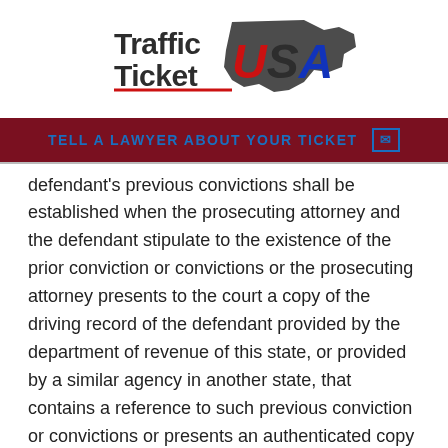[Figure (logo): Traffic Ticket USA logo with stylized red, dark gray, and blue text and US map silhouette]
TELL A LAWYER ABOUT YOUR TICKET
defendant's previous convictions shall be established when the prosecuting attorney and the defendant stipulate to the existence of the prior conviction or convictions or the prosecuting attorney presents to the court a copy of the driving record of the defendant provided by the department of revenue of this state, or provided by a similar agency in another state, that contains a reference to such previous conviction or convictions or presents an authenticated copy of the record of the previous conviction or judgment from any court of record of this state or from a court of any other state, the United States, or any territory subject to the jurisdiction of the United States. The court shall not proceed to immediate sentencing when there is not a stipulation to